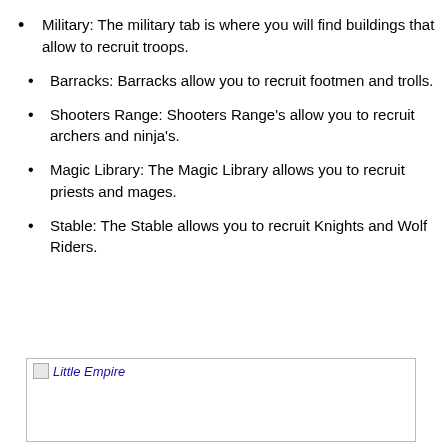Military: The military tab is where you will find buildings that allow to recruit troops.
Barracks: Barracks allow you to recruit footmen and trolls.
Shooters Range: Shooters Range's allow you to recruit archers and ninja's.
Magic Library: The Magic Library allows you to recruit priests and mages.
Stable: The Stable allows you to recruit Knights and Wolf Riders.
[Figure (illustration): Image placeholder with alt text 'Little Empire', shown with a broken image icon and italic blue link text inside a bordered box.]